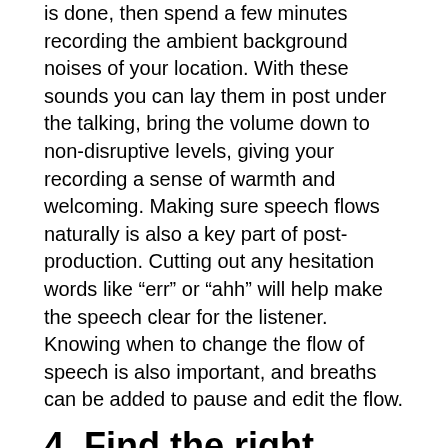is done, then spend a few minutes recording the ambient background noises of your location. With these sounds you can lay them in post under the talking, bring the volume down to non-disruptive levels, giving your recording a sense of warmth and welcoming. Making sure speech flows naturally is also a key part of post-production. Cutting out any hesitation words like “err” or “ahh” will help make the speech clear for the listener. Knowing when to change the flow of speech is also important, and breaths can be added to pause and edit the flow.
4. Find the right space to record
Finding the right space to record can really improve any audio recording. Walls, tables, and tile can bounce audio waves back into the microphone, severely hurting its quality. Carpet, furniture such as couches, and non-parallel walls do a good job of either absorbing sound or reflecting it away from the microphone. Small rooms are also better for recording, as there is not as much of an